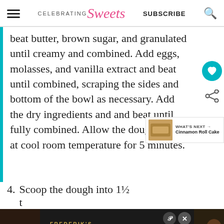Celebrating Sweets | SUBSCRIBE
beat butter, brown sugar, and granulated until creamy and combined. Add eggs, molasses, and vanilla extract and beat until combined, scraping the sides and bottom of the bowl as necessary. Add the dry ingredients and and beat until fully combined. Allow the dough to sit at cool room temperature for 5 minutes.
WHAT'S NEXT → Cinnamon Roll Cake
4. Scoop the dough into 1½ t
[Figure (photo): Advertisement for Frederik's by Henri showing food products (jars, containers) on a dark background with shop now button]